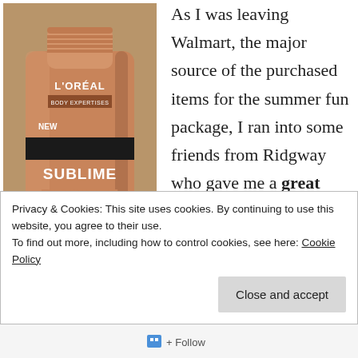[Figure (photo): L'Oreal Body Expertises Sublime Bronze Tinted Self-Tanning Lotion product tube, medium natural tan, streak-free, shown against a cardboard background]
As I was leaving Walmart, the major source of the purchased items for the summer fun package, I ran into some friends from Ridgway who gave me a great idea. The awesome little item was already in my cart, and when they
Privacy & Cookies: This site uses cookies. By continuing to use this website, you agree to their use.
To find out more, including how to control cookies, see here: Cookie Policy
Close and accept